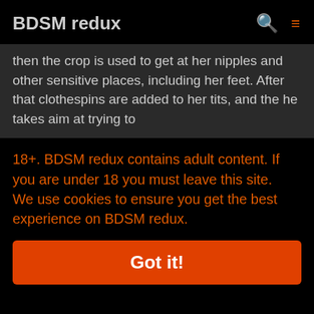BDSM redux
then the crop is used to get at her nipples and other sensitive places, including her feet. After that clothespins are added to her tits, and the he takes aim at trying to
18+. BDSM redux contains adult content. If you are under 18 you must leave this site.
We use cookies to ensure you get the best experience on BDSM redux.
Got it!